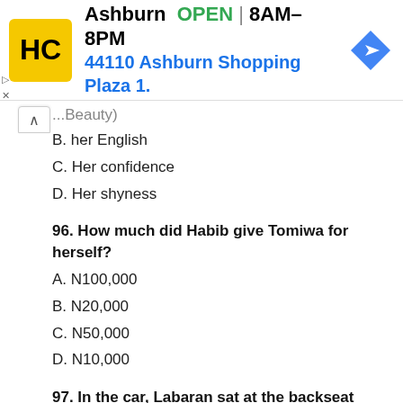[Figure (other): Advertisement banner for Ashburn HC store showing logo, OPEN status, hours 8AM-8PM, address 44110 Ashburn Shopping Plaza 1., and navigation arrow icon]
B. her English
C. Her confidence
D. Her shyness
96. How much did Habib give Tomiwa for herself?
A. N100,000
B. N20,000
C. N50,000
D. N10,000
97. In the car, Labaran sat at the backseat because
A. he wanted Tomiwa to seat in front
B. the back was his favourite seat
C. he was the car owner